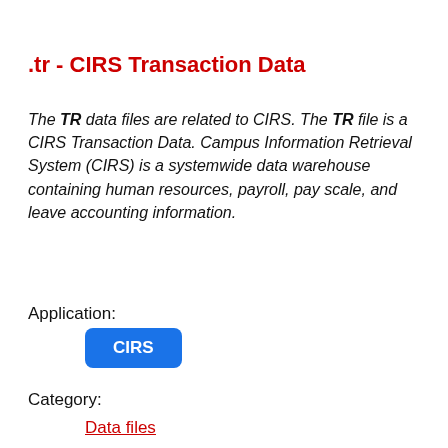.tr - CIRS Transaction Data
The TR data files are related to CIRS. The TR file is a CIRS Transaction Data. Campus Information Retrieval System (CIRS) is a systemwide data warehouse containing human resources, payroll, pay scale, and leave accounting information.
Application:
[Figure (other): Blue rounded rectangle button labeled CIRS]
Category:
Data files
Mime-type: